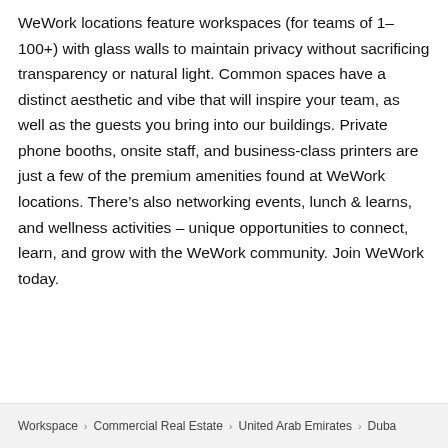WeWork locations feature workspaces (for teams of 1–100+) with glass walls to maintain privacy without sacrificing transparency or natural light. Common spaces have a distinct aesthetic and vibe that will inspire your team, as well as the guests you bring into our buildings. Private phone booths, onsite staff, and business-class printers are just a few of the premium amenities found at WeWork locations. There's also networking events, lunch & learns, and wellness activities – unique opportunities to connect, learn, and grow with the WeWork community. Join WeWork today.
Workspace > Commercial Real Estate > United Arab Emirates > Duba